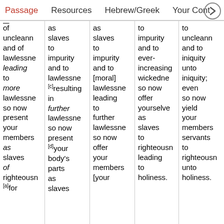Passage | Resources | Hebrew/Greek | Your Cont…
of uncleann… and of lawlessne… leading to more lawlessne… so now present your members as slaves of righteousn… [a]for
as slaves to impurity and to lawlessne… [c]resulting in further lawlessne… so now present [d]your body's parts as slaves
as slaves to impurity and to [moral] lawlessne… leading to further lawlessne… so now offer your members [your
to impurity and to ever-increasing wickedne… so now offer yourselve… as slaves to righteousn… leading to holiness.
to uncleann… and to iniquity unto iniquity; even so now yield your members servants to righteousn… unto holiness.